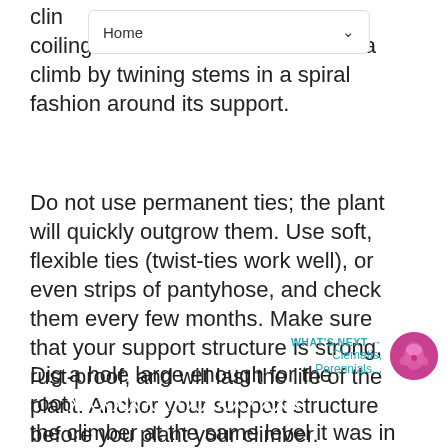Home
clim... by coiling tendrils. Akebia and Wisteria climb by twining stems in a spiral fashion around its support.
Do not use permanent ties; the plant will quickly outgrow them. Use soft, flexible ties (twist-ties work well), or even strips of pantyhose, and check them every few months. Make sure that your support structure is strong, rust-proof, and will last the life of the plant. Anchor your support structure before you plant your climber.
Dig a hole large enough for the roots, planting the climber at the same level it was in the container. Plant a little deeper for clematis or